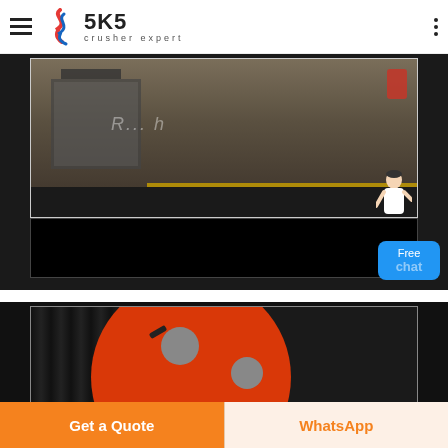SKS crusher expert
[Figure (photo): Crusher machinery equipment in a factory/workshop setting, with a black banner area at the bottom of the image. A 'Free chat' button is overlaid on the right side.]
[Figure (photo): Close-up of a large red crusher wheel/flywheel with circular holes, set against a dark background with black ridged components.]
Get a Quote
WhatsApp